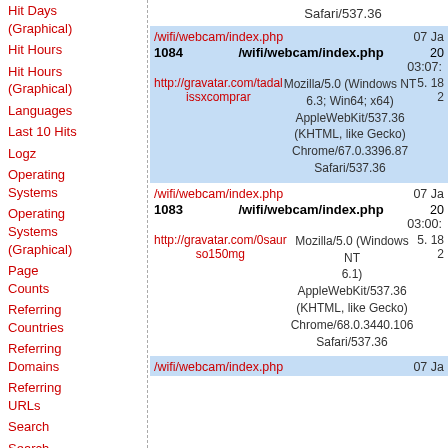Hit Days (Graphical)
Hit Hours
Hit Hours (Graphical)
Languages
Last 10 Hits
Logz
Operating Systems
Operating Systems (Graphical)
Page Counts
Referring Countries
Referring Domains
Referring URLs
Search
Search Keywords
Search Strings
Translations
| URL/Ref | Page/Agent | Date/Size/Time |
| --- | --- | --- |
| Safari/537.36 |  |  |
| /wifi/webcam/index.php |  | 07 Ja |
| 1084 | /wifi/webcam/index.php | 20 |
|  |  | 03:07: |
| http://gravatar.com/tadal issxcomprar | Mozilla/5.0 (Windows NT 6.3; Win64; x64) AppleWebKit/537.36 (KHTML, like Gecko) Chrome/67.0.3396.87 Safari/537.36 | 5. 18 2 |
| /wifi/webcam/index.php |  | 07 Ja |
| 1083 | /wifi/webcam/index.php | 20 |
|  |  | 03:00: |
| http://gravatar.com/0saur so150mg | Mozilla/5.0 (Windows NT 6.1) AppleWebKit/537.36 (KHTML, like Gecko) Chrome/68.0.3440.106 Safari/537.36 | 5. 18 2 |
| /wifi/webcam/index.php |  | 07 Ja |